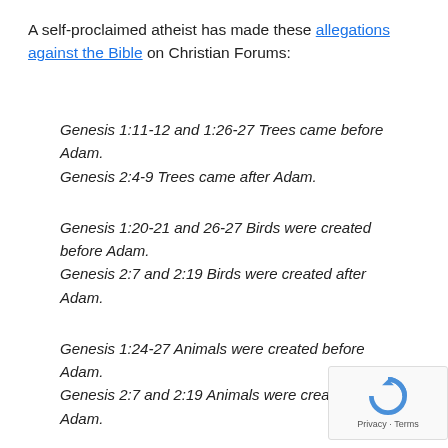A self-proclaimed atheist has made these allegations against the Bible on Christian Forums:
Genesis 1:11-12 and 1:26-27 Trees came before Adam. Genesis 2:4-9 Trees came after Adam.
Genesis 1:20-21 and 26-27 Birds were created before Adam. Genesis 2:7 and 2:19 Birds were created after Adam.
Genesis 1:24-27 Animals were created before Adam. Genesis 2:7 and 2:19 Animals were created after Adam.
Genesis 1:26-27 Adam and Eve were created at the same time. Genesis 2:7 and 2:21-22 Adam was created first, woman sometime later.